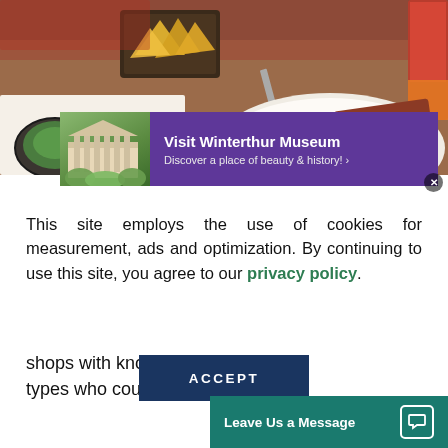[Figure (photo): Restaurant table with food: chips, guacamole, grilled steak slices on a white plate with yellow rice/corn, a red drink on the right, fork visible, wooden table background]
[Figure (other): Advertisement banner: thumbnail image of Winterthur Museum building with columns and garden, purple background, text: Visit Winterthur Museum / Discover a place of beauty & history!]
This site employs the use of cookies for measurement, ads and optimization. By continuing to use this site, you agree to our privacy policy.
ACCEPT
shops with knowled... types who could d...
Leave Us a Message